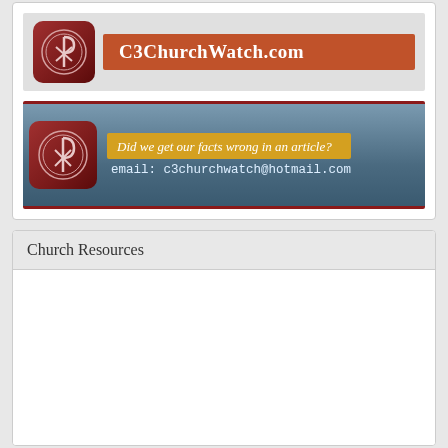[Figure (logo): C3ChurchWatch.com logo banner with Chi-Rho icon and site name on orange-red background]
[Figure (logo): C3ChurchWatch contact banner with Chi-Rho icon, italic text 'Did we get our facts wrong in an article?' on gold bar, and email c3churchwatchwatch@hotmail.com on blue-grey background]
Church Resources